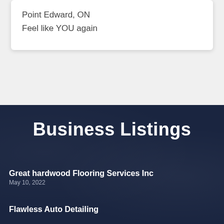Point Edward, ON
Feel like YOU again
Business Listings
Great hardwood Flooring Services Inc
May 10, 2022
Flawless Auto Detailing